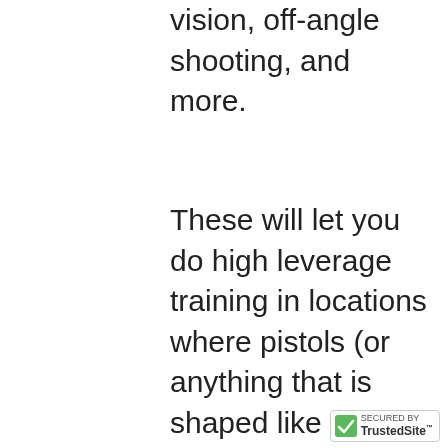vision, off-angle shooting, and more.
These will let you do high leverage training in locations where pistols (or anything that is shaped like a pistol) are not allowed.
Some drills use the laser…some use your pistol and dry fire…some are a combination of both…but